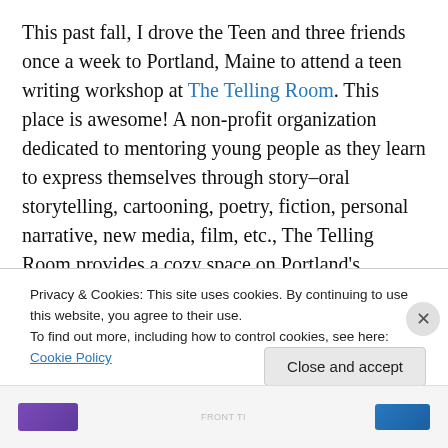This past fall, I drove the Teen and three friends once a week to Portland, Maine to attend a teen writing workshop at The Telling Room. This place is awesome! A non-profit organization dedicated to mentoring young people as they learn to express themselves through story–oral storytelling, cartooning, poetry, fiction, personal narrative, new media, film, etc., The Telling Room provides a cozy space on Portland's waterfront, guest teachers, and a wonderful staff both paid and volunteer.
The girls were attending a writing/cartooning class once a
Privacy & Cookies: This site uses cookies. By continuing to use this website, you agree to their use.
To find out more, including how to control cookies, see here: Cookie Policy
Close and accept